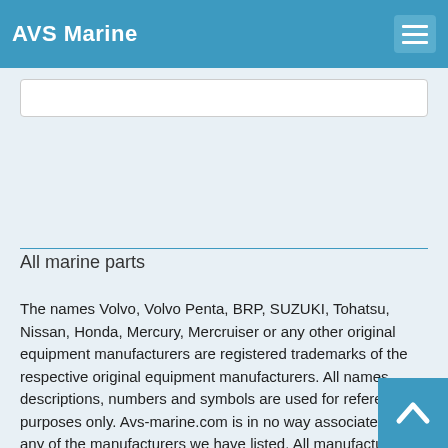AVS Marine
All marine parts
The names Volvo, Volvo Penta, BRP, SUZUKI, Tohatsu, Nissan, Honda, Mercury, Mercruiser or any other original equipment manufacturers are registered trademarks of the respective original equipment manufacturers. All names, descriptions, numbers and symbols are used for reference purposes only.
Avs-marine.com is in no way associated with any of the manufacturers we have listed. All manufacturer's names and descriptions are for reference only. Volvo® and Volvo Penta® are registered trademarks of Volvo Penta of the Americas,